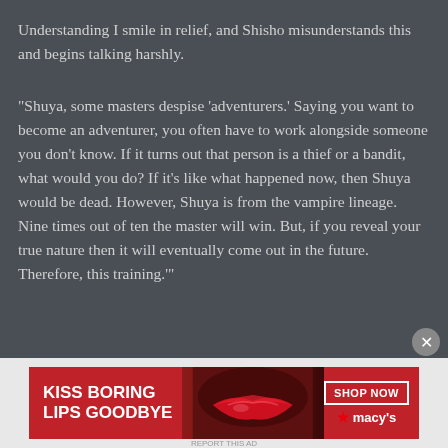Understanding I smile in relief, and Shisho misunderstands this and begins talking harshly.
“Shuya, some masters despise ‘adventurers.’ Saying you want to become an adventurer, you often have to work alongside someone you don’t know. If it turns out that person is a thief or a bandit, what would you do? If it’s like what happened now, then Shuya would be dead. However, Shuya is from the vampire lineage. Nine times out of ten the master will win. But, if you reveal your true nature then it will eventually come out in the future. Therefore, this training.’”
[Figure (infographic): Advertisement banner for Macy's lipstick/beauty product. Red background with text 'KISS BORING LIPS GOODBYE' on the left, image of woman's lips in center, and 'SHOP NOW' button with Macy's star logo on the right.]